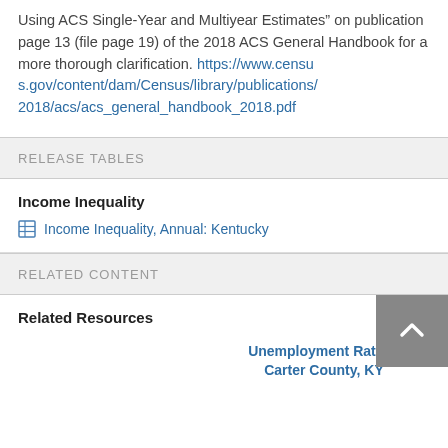Using ACS Single-Year and Multiyear Estimates" on publication page 13 (file page 19) of the 2018 ACS General Handbook for a more thorough clarification. https://www.census.gov/content/dam/Census/library/publications/2018/acs/acs_general_handbook_2018.pdf
RELEASE TABLES
Income Inequality
Income Inequality, Annual: Kentucky
RELATED CONTENT
Related Resources
Unemployment Rate in Carter County, KY